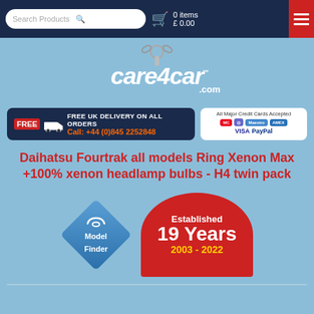Search Products | 0 items £ 0.00
[Figure (logo): care4car.com logo with keychain graphic above]
[Figure (infographic): FREE UK DELIVERY ON ALL ORDERS banner with truck icon and phone number Call: +44 (0)845 2252848, plus payment logos panel showing All Major Credit Cards Accepted with MasterCard, Maestro, Visa, PayPal, American Express]
Daihatsu Fourtrak all models Ring Xenon Max +100% xenon headlamp bulbs - H4 twin pack
[Figure (infographic): Blue diamond Model Finder badge with car icon, and red semicircle Established 19 Years 2003-2022 badge]
Home > - H4 twin pack
Tweet